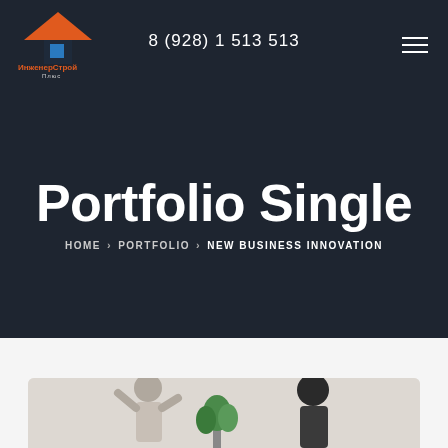8 (928) 1 513 513
[Figure (logo): ИнженерСтрой Plus logo with house icon in orange and blue]
Portfolio Single
HOME > PORTFOLIO > NEW BUSINESS INNOVATION
[Figure (photo): People in a meeting or business setting, partially visible at the bottom of the page]